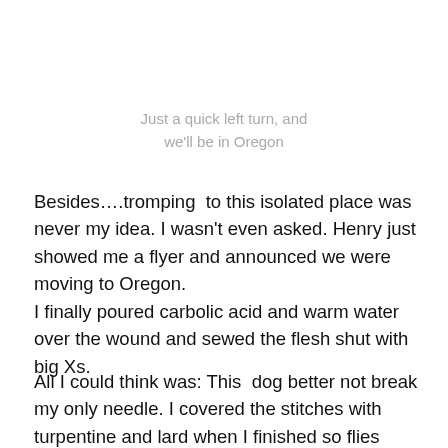Just a quick left turn, and we'll be in Oregon
Besides….tromping  to this isolated place was never my idea. I wasn't even asked. Henry just showed me a flyer and announced we were moving to Oregon.
I finally poured carbolic acid and warm water over the wound and sewed the flesh shut with big Xs.
All I could think was: This  dog better not break my only needle. I covered the stitches with turpentine and lard when I finished so flies wouldn't get into the wound.